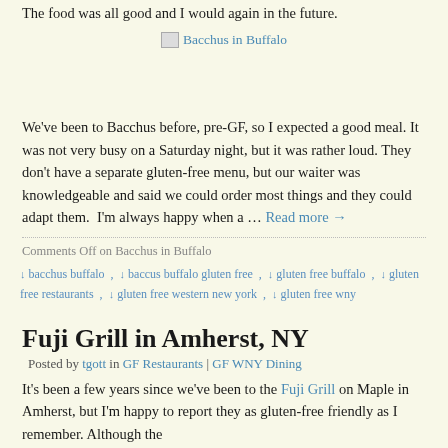The food was all good and I would again in the future.
[Figure (other): Image link placeholder labeled 'Bacchus in Buffalo']
We've been to Bacchus before, pre-GF, so I expected a good meal. It was not very busy on a Saturday night, but it was rather loud. They don't have a separate gluten-free menu, but our waiter was knowledgeable and said we could order most things and they could adapt them.  I'm always happy when a … Read more →
Comments Off on Bacchus in Buffalo
bacchus buffalo , baccus buffalo gluten free , gluten free buffalo , gluten free restaurants , gluten free western new york , gluten free wny
Fuji Grill in Amherst, NY
Posted by tgott in GF Restaurants | GF WNY Dining
It's been a few years since we've been to the Fuji Grill on Maple in Amherst, but I'm happy to report they as gluten-free friendly as I remember. Although the
[Figure (photo): Partial photo visible at bottom of page, appears to be food or restaurant related]